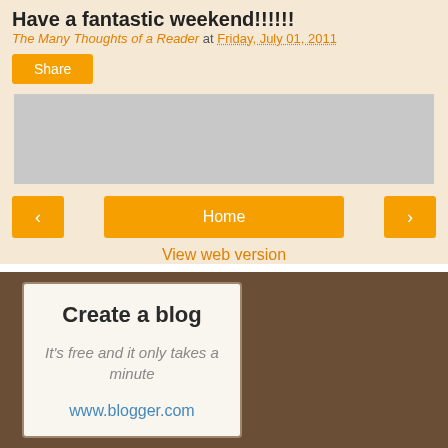Have a fantastic weekend!!!!!!
The Many Thoughts of a Reader at Friday, July 01, 2011
Share
[Figure (other): Gray advertisement placeholder box]
< Home >
View web version
Create a blog
It's free and it only takes a minute
www.blogger.com